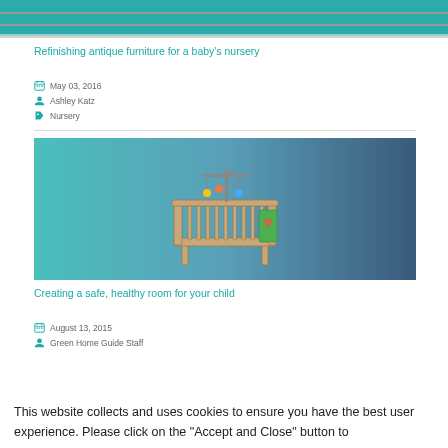[Figure (photo): Teal and gray striped fabric/curtains, cropped top portion visible]
Refinishing antique furniture for a baby's nursery
May 03, 2016
Ashley Katz
Nursery
[Figure (illustration): Baby crib illustration with a mobile on a teal-to-dark-blue gradient background]
Creating a safe, healthy room for your child
August 13, 2015
Green Home Guide Staff
This website collects and uses cookies to ensure you have the best user experience. Please click on the "Accept and Close" button to